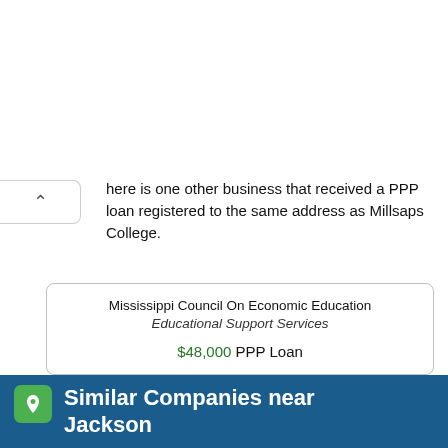[Figure (logo): Circle K Store Locator advertisement banner with Circle K logo on left and navigation arrow icon on right]
here is one other business that received a PPP loan registered to the same address as Millsaps College.
| Mississippi Council On Economic Education | Educational Support Services | $48,000 PPP Loan |
Similar Companies near Jackson
In the Jackson area, 2 businesses in the "Colleges, Universities, and Professional Schools" industry received a PPP loan. These local businesses reported an average of 249 employees (compared to this